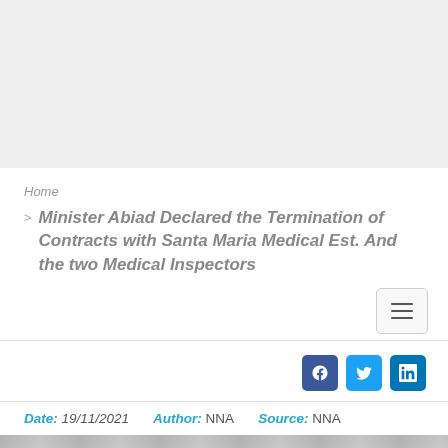[Figure (other): Gray banner/advertisement area at top of page]
Home
Minister Abiad Declared the Termination of Contracts with Santa Maria Medical Est. And the two Medical Inspectors
[Figure (other): Hamburger menu button icon]
[Figure (other): Social media sharing icons: Facebook, Twitter, LinkedIn]
Date: 19/11/2021   Author: NNA   Source: NNA
[Figure (photo): Partial photo at bottom of page]